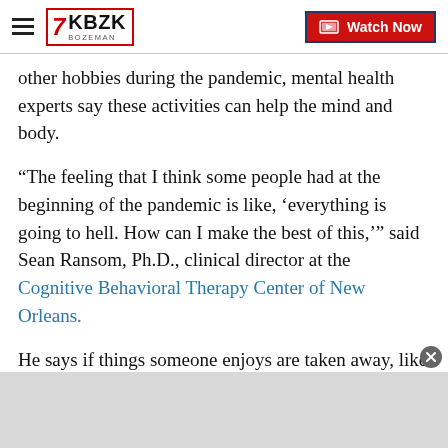KBZK BOZEMAN | Watch Now
other hobbies during the pandemic, mental health experts say these activities can help the mind and body.
“The feeling that I think some people had at the beginning of the pandemic is like, ‘everything is going to hell. How can I make the best of this,’” said Sean Ransom, Ph.D., clinical director at the Cognitive Behavioral Therapy Center of New Orleans.
He says if things someone enjoys are taken away, like many were during the COVID-19 crisis, it helps to find something else that brings meaning into their life.